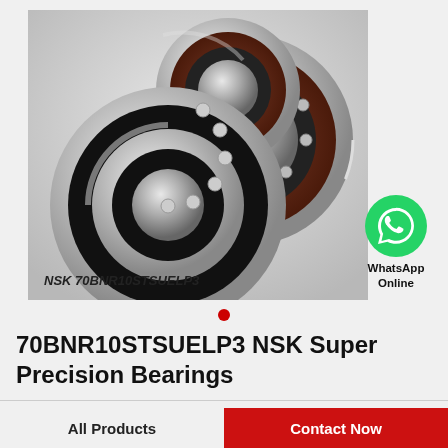[Figure (photo): Three NSK angular contact ball bearings (super precision) arranged in a group — two smaller ones in the foreground and two larger ones behind, shown on a light gray gradient background. Label at bottom reads 'NSK 70BNR10STSUELP3']
[Figure (logo): WhatsApp green circle icon with phone handset silhouette in white, with text 'WhatsApp Online' below]
70BNR10STSUELP3 NSK Super Precision Bearings
All Products
Contact Now